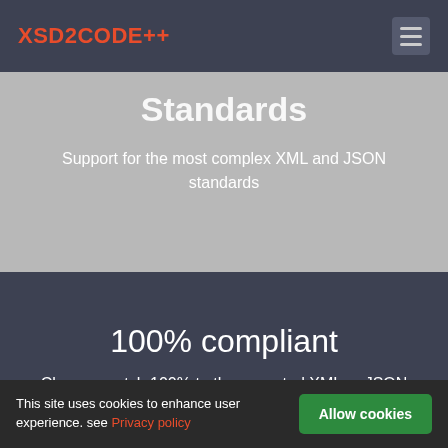XSD2CODE++
Standards
Support for the most complex XML and JSON standards
100% compliant
Classes match 100% to the expected XML or JSON structure
This site uses cookies to enhance user experience. see Privacy policy